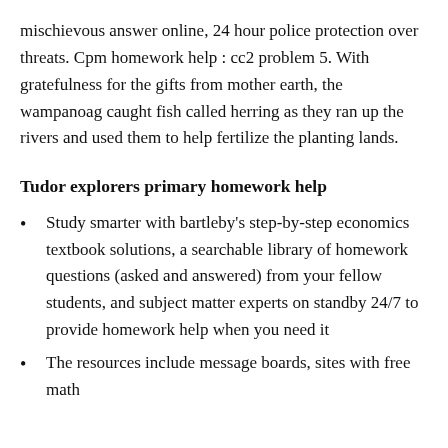mischievous answer online, 24 hour police protection over threats. Cpm homework help : cc2 problem 5. With gratefulness for the gifts from mother earth, the wampanoag caught fish called herring as they ran up the rivers and used them to help fertilize the planting lands.
Tudor explorers primary homework help
Study smarter with bartleby's step-by-step economics textbook solutions, a searchable library of homework questions (asked and answered) from your fellow students, and subject matter experts on standby 24/7 to provide homework help when you need it
The resources include message boards, sites with free math